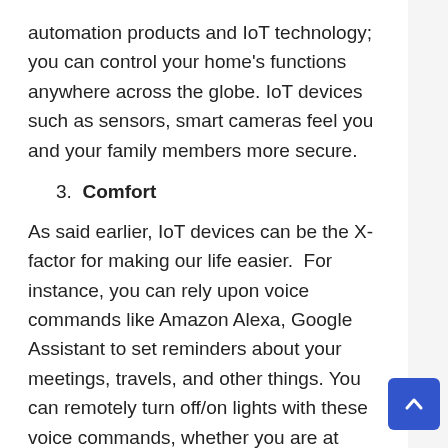automation products and IoT technology; you can control your home's functions anywhere across the globe. IoT devices such as sensors, smart cameras feel you and your family members more secure.
3. Comfort
As said earlier, IoT devices can be the X-factor for making our life easier.  For instance, you can rely upon voice commands like Amazon Alexa, Google Assistant to set reminders about your meetings, travels, and other things. You can remotely turn off/on lights with these voice commands, whether you are at home or far away from it.